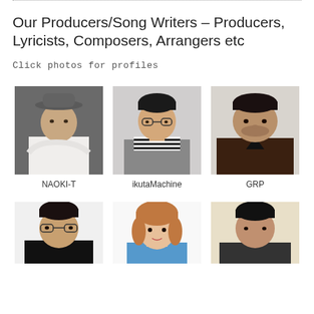Our Producers/Song Writers – Producers, Lyricists, Composers, Arrangers etc
Click photos for profiles
[Figure (photo): Portrait photo of NAOKI-T, man wearing a gray hat and white shirt, posing with hand on chin, dark gray background]
NAOKI-T
[Figure (photo): Portrait photo of ikutaMachine, man with dark hair wearing glasses, striped shirt and gray jacket, light background]
ikutaMachine
[Figure (photo): Portrait photo of GRP, larger man wearing a dark brown jacket and dark V-neck shirt, light background]
GRP
[Figure (photo): Partial portrait of a man with dark hair and glasses wearing dark outfit, white background]
[Figure (photo): Partial portrait of a woman with light brown hair wearing a colorful outfit, white background]
[Figure (photo): Partial portrait of a man with short dark hair, cream/beige background]